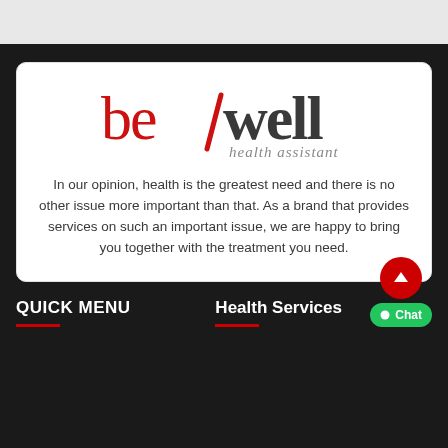[Figure (logo): bewell health assistant logo — 'be' in red, 'well' in dark gray, with a red diagonal slash between them, and italic 'health assistant' text below in gray]
In our opinion, health is the greatest need and there is no other issue more important than that. As a brand that provides services on such an important issue, we are happy to bring you together with the treatment you need.
QUICK MENU
Health Services